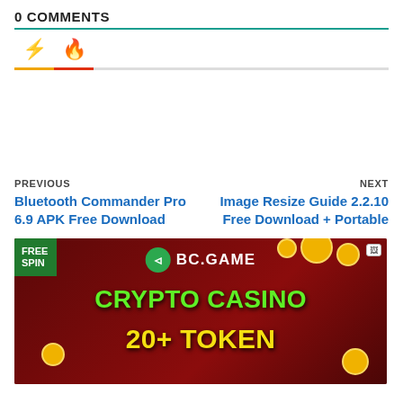0 COMMENTS
[Figure (other): Tab icons: lightning bolt (orange) and flame (red) with colored underlines]
PREVIOUS
Bluetooth Commander Pro 6.9 APK Free Download
NEXT
Image Resize Guide 2.2.10 Free Download + Portable
[Figure (photo): BC.GAME crypto casino advertisement banner with text: FREE SPIN, BC.GAME logo, CRYPTO CASINO, 20+ TOKEN on dark red background with gold coins]